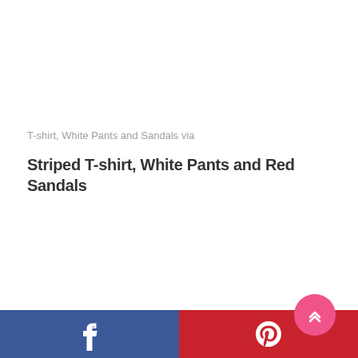T-shirt, White Pants and Sandals via
Striped T-shirt, White Pants and Red Sandals
Facebook | Pinterest share buttons